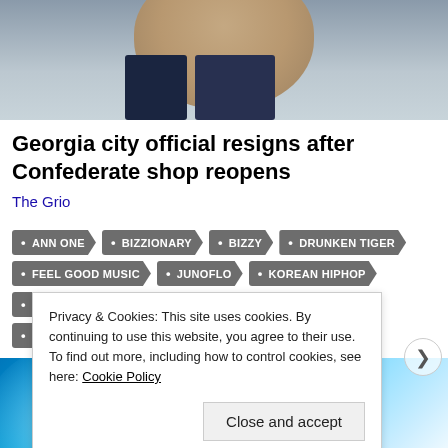[Figure (photo): Photo of a man in a dark suit, cropped showing chin and neck area against a grey/blue background]
Georgia city official resigns after Confederate shop reopens
The Grio
ANN ONE
BIZZIONARY
BIZZY
DRUNKEN TIGER
FEEL GOOD MUSIC
JUNOFLO
KOREAN HIPHOP
MFBTY
TIGERJK
TRIBE CALLED QUEST
YOONMIRAE
[Figure (photo): Blue and white abstract background image (banner/advertisement area)]
Privacy & Cookies: This site uses cookies. By continuing to use this website, you agree to their use.
To find out more, including how to control cookies, see here: Cookie Policy
Close and accept